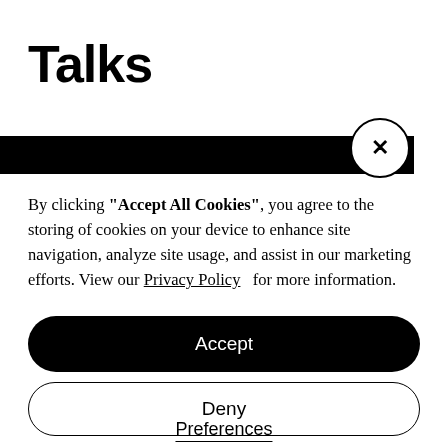Talks
[Figure (screenshot): Black navigation bar partially visible behind cookie consent overlay, with circular close (X) button on the right]
By clicking "Accept All Cookies", you agree to the storing of cookies on your device to enhance site navigation, analyze site usage, and assist in our marketing efforts. View our Privacy Policy for more information.
Accept
Deny
Preferences